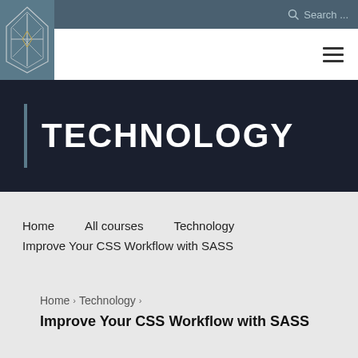[Figure (logo): Geometric cross/diamond logo in silver/white lines on steel blue background]
Search ...
TECHNOLOGY
Home    All courses    Technology    Improve Your CSS Workflow with SASS
Home > Technology > Improve Your CSS Workflow with SASS